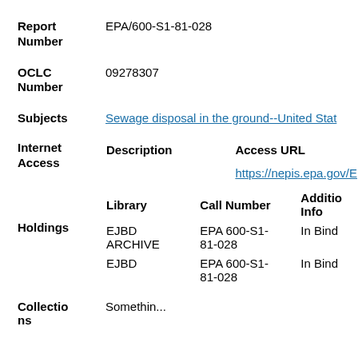Report Number: EPA/600-S1-81-028
OCLC Number: 09278307
Subjects: Sewage disposal in the ground--United Stat
| Description | Access URL |
| --- | --- |
|  | https://nepis.epa.gov/E |
| Library | Call Number | Additional Info |
| --- | --- | --- |
| EJBD ARCHIVE | EPA 600-S1-81-028 | In Bind |
| EJBD | EPA 600-S1-81-028 | In Bind |
Collections